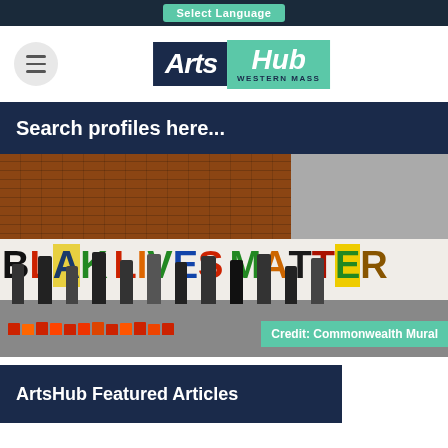Select Language
[Figure (logo): ArtsHub Western Mass logo with dark navy Arts block and teal Hub block]
Search profiles here...
[Figure (photo): People painting a large Black Lives Matter mural on a white wall, with colorful decorated letters, paint buckets on the ground. Credit: Commonwealth Mural]
Credit: Commonwealth Mural
ArtsHub Featured Articles